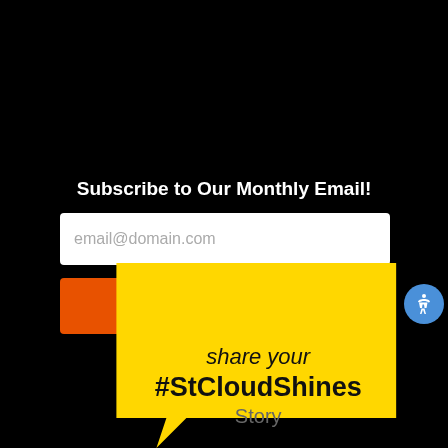Subscribe to Our Monthly Email!
email@domain.com
Subscribe
[Figure (infographic): Yellow speech bubble graphic with text: share your #StCloudShines Story]
share your #StCloudShines Story